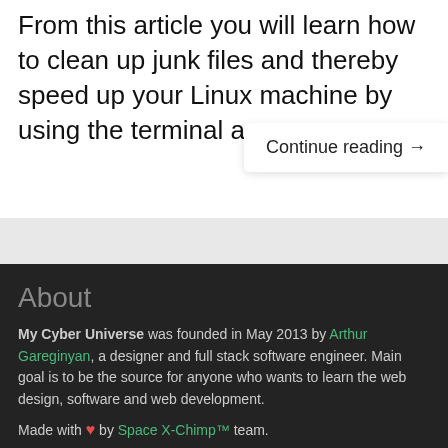From this article you will learn how to clean up junk files and thereby speed up your Linux machine by using the terminal app.
Continue reading →
About
My Cyber Universe was founded in May 2013 by Arthur Gareginyan, a designer and full stack software engineer. Main goal is to be the source for anyone who wants to learn the web design, software and web development.
Made with ♥ by Space X-Chimp™ team.
© 2013-2022 Project by Space X-Chimp™. All rights reserved.